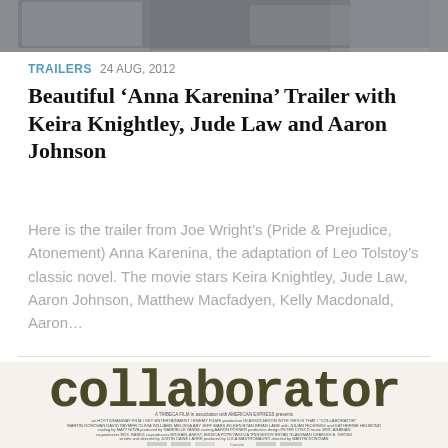[Figure (photo): Top portion of a film/movie photo showing figures in a scene, partially cropped]
TRAILERS  24 AUG, 2012
Beautiful ‘Anna Karenina’ Trailer with Keira Knightley, Jude Law and Aaron Johnson
Here is the trailer from Joe Wright’s (Pride & Prejudice, Atonement) Anna Karenina, the adaptation of Leo Tolstoy’s classic novel. The movie stars Keira Knightley, Jude Law, Aaron Johnson, Matthew Macfadyen, Kelly Macdonald, Aaron…
[Figure (photo): Movie poster for 'collaborator' film showing the title in large typewriter-style font with film credits text and logos below]